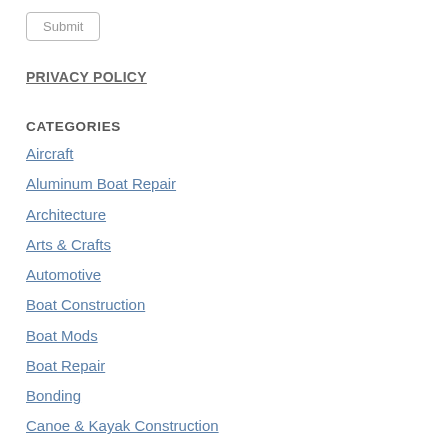Submit
PRIVACY POLICY
CATEGORIES
Aircraft
Aluminum Boat Repair
Architecture
Arts & Crafts
Automotive
Boat Construction
Boat Mods
Boat Repair
Bonding
Canoe & Kayak Construction
Carbon Fiber